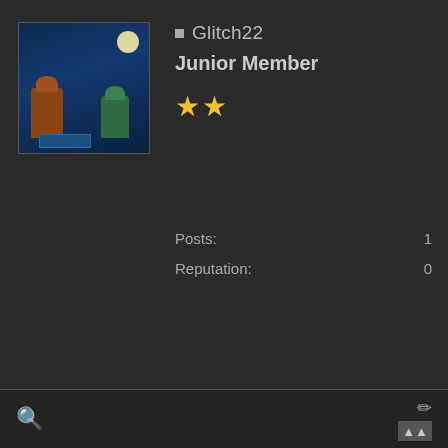[Figure (illustration): User avatar image showing two game figures/characters on a dark blue background with a moon]
Glitch22
Junior Member
★★
Posts: 1
Reputation: 0
08-14-2017, 03:57 AM
#37
Count me as #15
🔍  ✏